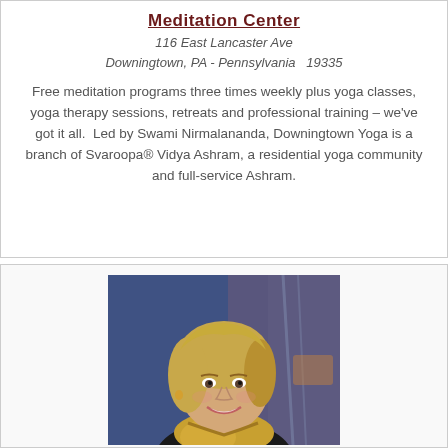Meditation Center
116 East Lancaster Ave
Downingtown, PA - Pennsylvania  19335
Free meditation programs three times weekly plus yoga classes, yoga therapy sessions, retreats and professional training – we've got it all.  Led by Swami Nirmalananda, Downingtown Yoga is a branch of Svaroopa® Vidya Ashram, a residential yoga community and full-service Ashram.
[Figure (photo): Portrait photo of a smiling middle-aged woman with blonde hair wearing a yellow scarf and dark top, photographed indoors with a blue-lit background.]